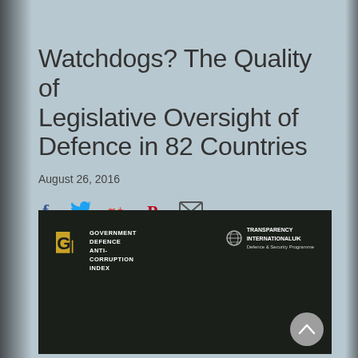Watchdogs? The Quality of Legislative Oversight of Defence in 82 Countries
August 26, 2016
[Figure (infographic): Social media sharing icons: Facebook (f), Twitter (bird), Google+ (g+), Pinterest (P), Email (envelope)]
[Figure (screenshot): Cover of the Government Defence Anti-Corruption Index report with GI logo in yellow/gold on dark background, and Transparency International UK Defence & Security Programme logo on the right]